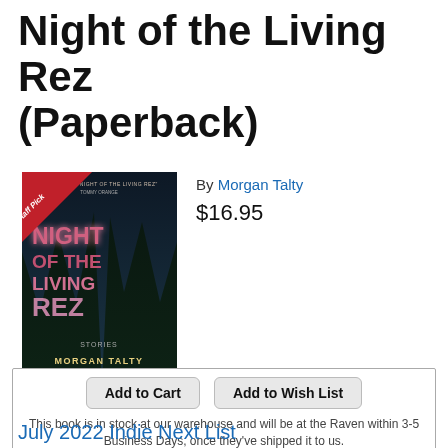Night of the Living Rez (Paperback)
[Figure (illustration): Book cover for Night of the Living Rez by Morgan Talty. Dark blue-green forest background with glowing pink/purple title text. A red Staff Pick ribbon in the top left corner.]
By Morgan Talty
$16.95
Add to Cart
Add to Wish List
This book is in stock at our warehouse and will be at the Raven within 3-5 Business Days, once they've shipped it to us.
July 2022 Indie Next List